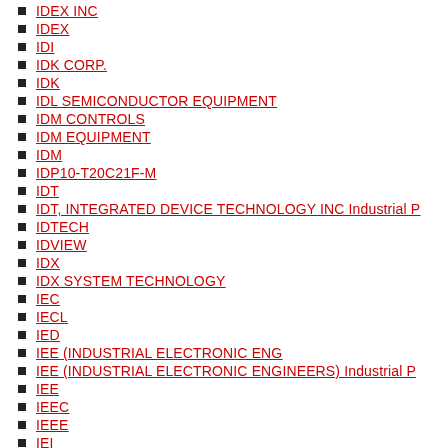IDEX INC
IDEX
IDI
IDK CORP.
IDK
IDL SEMICONDUCTOR EQUIPMENT
IDM CONTROLS
IDM EQUIPMENT
IDM
IDP10-T20C21F-M
IDT
IDT, INTEGRATED DEVICE TECHNOLOGY INC Industrial P
IDTECH
IDVIEW
IDX
IDX SYSTEM TECHNOLOGY
IEC
IECL
IED
IEE (INDUSTRIAL ELECTRONIC ENG
IEE (INDUSTRIAL ELECTRONIC ENGINEERS) Industrial P
IEE
IEEC
IEEE
IEI